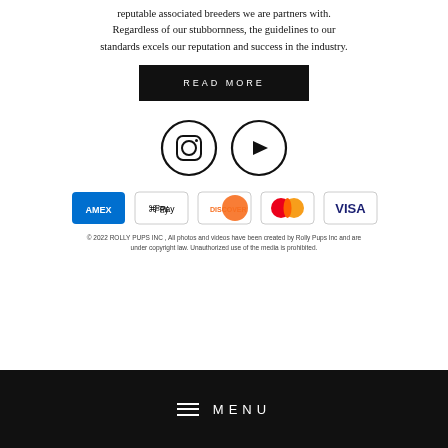reputable associated breeders we are partners with. Regardless of our stubbornness, the guidelines to our standards excels our reputation and success in the industry.
READ MORE
[Figure (logo): Instagram icon circle and YouTube play button circle, social media icons]
[Figure (logo): Payment method icons: AMEX, Apple Pay, Discover, Mastercard, Visa]
© 2022 ROLLY PUPS INC , All photos and videos have been created by Rolly Pups Inc and are under copyright law. Unauthorized use of the media is prohibited.
MENU